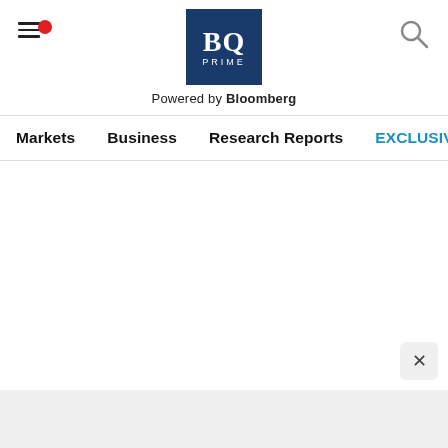[Figure (logo): BQ Prime logo - dark blue square with BQ text and PRIME below, Powered by Bloomberg subtitle]
Markets   Business   Research Reports   EXCLUSIVES   Economy
[Figure (other): Close (X) button in bottom right corner]
[Figure (other): Gray bottom bar / footer area]